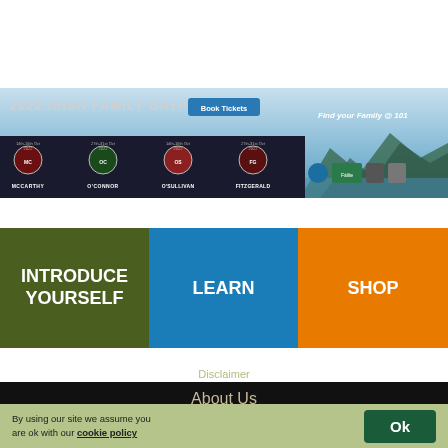[Figure (infographic): 2022 Irish Family Gatherings banner with Book Tickets button, clan badges for McCarthy, O'Connor, O'Sullivan, Fitzgerald with dates in Oct 2022, Find your Family @ 101 text, mountain landscape background, and sponsor logos]
INTRODUCE YOURSELF
LEARN
SHOP
About Us
Disclaimer
By using our site we assume you are ok with our cookie policy
Sitemap
Privacy policy